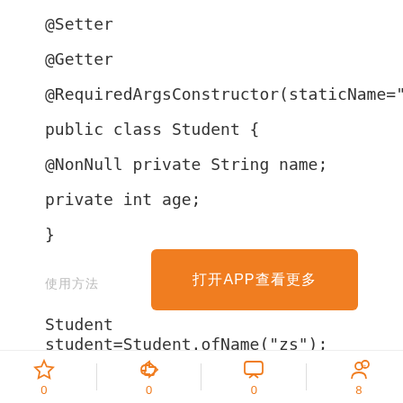@Setter
@Getter
@RequiredArgsConstructor(staticName="ofName")
public class Student {
@NonNull private String name;
private int age;
}
[Figure (other): Orange button with Chinese text and APP label]
使用方法
Student student=Student.ofName("zs");
0  0  0  8